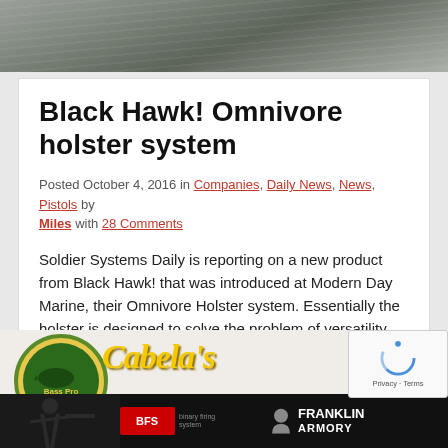[Figure (photo): Close-up photo of a dark grey metallic surface, likely a firearm or holster component, at the top of the page.]
Black Hawk! Omnivore holster system
Posted October 4, 2016 in Companies, Daily News, News, Pistols by Miles with 28 Comments
Soldier Systems Daily is reporting on a new product from Black Hawk! that was introduced at Modern Day Marine, their Omnivore Holster system. Essentially the holster is designed to solve the problem of versatility that so many holster manufacturers have tried to tackle [Read More…]
[Figure (photo): Advertisement banner area at bottom of page showing Bass Pro Shops logo, Cabela's text logo, a BFS firearms advertisement with person shooting, Franklin Armory branding, and a reCAPTCHA widget.]